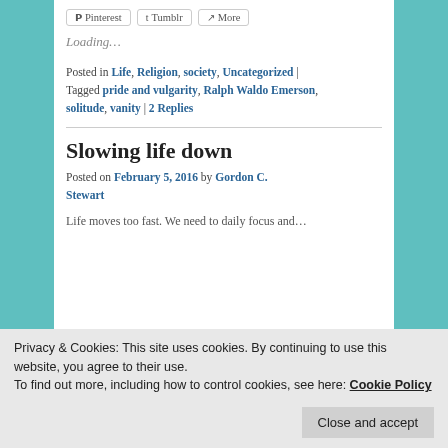[Figure (other): Social share buttons: Pinterest, Tumblr, More]
Loading...
Posted in Life, Religion, society, Uncategorized | Tagged pride and vulgarity, Ralph Waldo Emerson, solitude, vanity | 2 Replies
Slowing life down
Posted on February 5, 2016 by Gordon C. Stewart
Life moves too fast. We need to daily focus and...
Privacy & Cookies: This site uses cookies. By continuing to use this website, you agree to their use. To find out more, including how to control cookies, see here: Cookie Policy